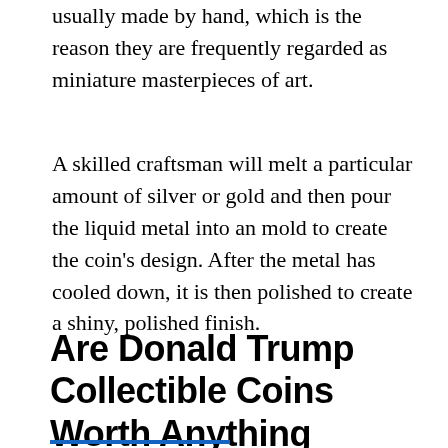usually made by hand, which is the reason they are frequently regarded as miniature masterpieces of art.
A skilled craftsman will melt a particular amount of silver or gold and then pour the liquid metal into an mold to create the coin's design. After the metal has cooled down, it is then polished to create a shiny, polished finish.
Are Donald Trump Collectible Coins Worth Anything